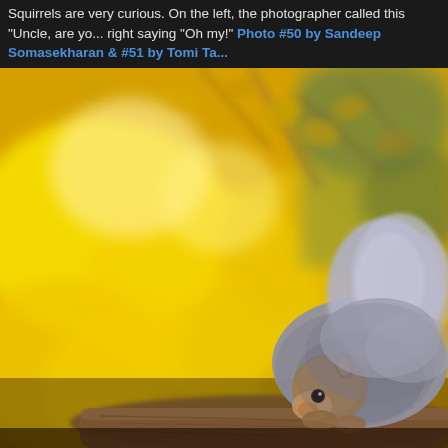Squirrels are very curious. On the left, the photographer called this "Uncle, are yo... right saying "Oh my!" Photo #50 by Sandeep Somasekharan & #51 by Tomi Ta...
[Figure (photo): A gray squirrel perched on a weathered log or branch, looking toward the camera. The background is a vivid blur of golden-yellow autumn maple leaves with some brown branches. The squirrel occupies the lower-right portion of the image, with fluffy gray fur visible on its back and tail. The yellow bokeh background dominates the upper and left portions of the image.]